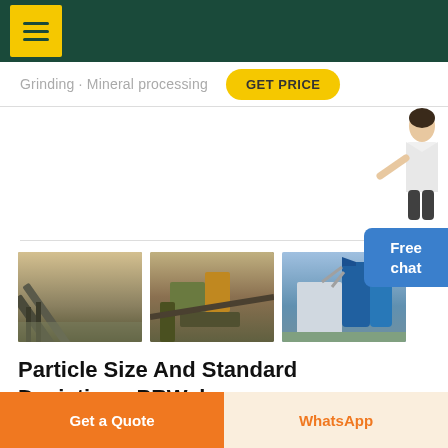≡ [menu] | Grinding · Mineral processing | GET PRICE
[Figure (photo): Three industrial mining/mineral processing facility photos side by side: conveyor belt system, outdoor crusher/screening equipment, and industrial dust collection/processing plant with blue silos]
Particle Size And Standard Deviation - PRWeb
Get a Quote | WhatsApp